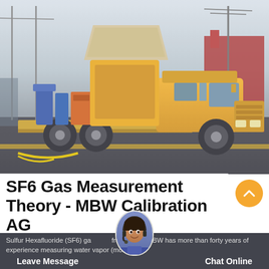[Figure (photo): Yellow service/utility truck with open flatbed carrying blue equipment and large yellow apparatus, parked on a wet road, industrial/port setting]
SF6 Gas Measurement Theory - MBW Calibration AG
Sulfur Hexafluoride (SF6) gas from MBW. MBW has more than forty years of experience measuring water vapor (moisture,